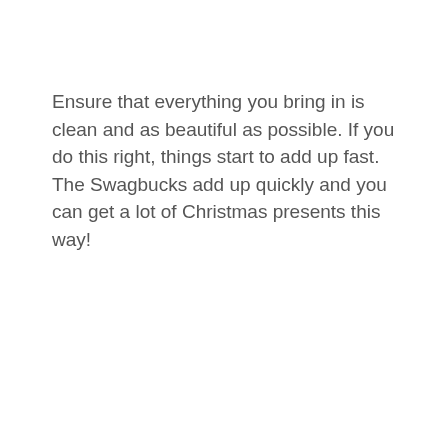Ensure that everything you bring in is clean and as beautiful as possible. If you do this right, things start to add up fast. The Swagbucks add up quickly and you can get a lot of Christmas presents this way!